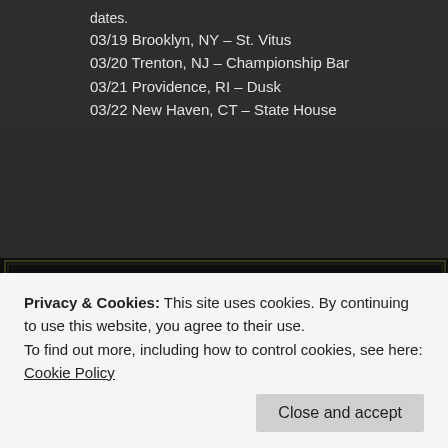dates.
03/19 Brooklyn, NY – St. Vitus
03/20 Trenton, NJ – Championship Bar
03/21 Providence, RI – Dusk
03/22 New Haven, CT – State House
[Figure (photo): Concert promotional image for 'Four Nights of Hell' featuring Kingworm band logo in gothic/metal style lettering with green and black decorative elements, white distressed text, and the word AND visible at bottom]
Privacy & Cookies: This site uses cookies. By continuing to use this website, you agree to their use.
To find out more, including how to control cookies, see here: Cookie Policy
Close and accept